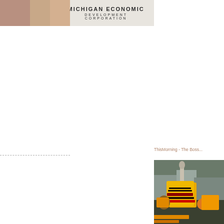[Figure (logo): Michigan Pure Opportunity logo with Michigan state shape silhouette, alongside Michigan Economic Development Corporation text banner]
[Figure (photo): Partial photo in top right corner, brownish/warm tones, partially visible]
ThisMorning - The Boss...
[Figure (photo): Photo of protest scene with people holding yellow signs reading 'NEVER Legitimate' and 'OUT NOW!', outdoor urban setting with statue visible in background]